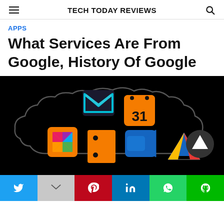TECH TODAY REVIEWS
APPS
What Services Are From Google, History Of Google
[Figure (illustration): Black background hero image showing a dark cloud outline containing several Google app icons: Gmail (teal M), Google Calendar (31), Google Drive (triangle), Google Meet (video camera), a document icon, and a pinwheel/Google icon. A circular back-to-top arrow button appears at bottom right.]
Twitter | Gmail | Pinterest | LinkedIn | WhatsApp | LINE